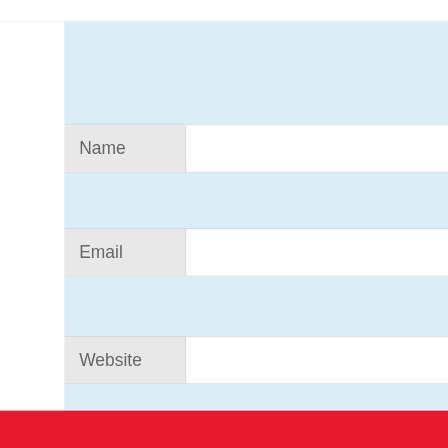Name
Email
Website
Save my name, email, and website in this browser for the next time I